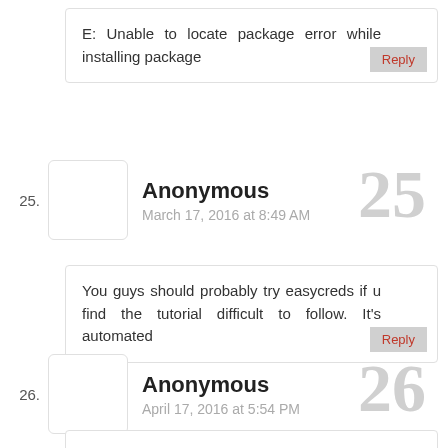E: Unable to locate package error while installing package
Reply
25.
Anonymous
March 17, 2016 at 8:49 AM
25
You guys should probably try easycreds if u find the tutorial difficult to follow. It's automated
Reply
26.
Anonymous
April 17, 2016 at 5:54 PM
26